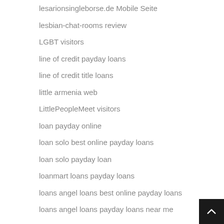lesarionsingleborse.de Mobile Seite
lesbian-chat-rooms review
LGBT visitors
line of credit payday loans
line of credit title loans
little armenia web
LittlePeopleMeet visitors
loan payday online
loan solo best online payday loans
loan solo payday loan
loanmart loans payday loans
loans angel loans best online payday loans
loans angel loans payday loans near me